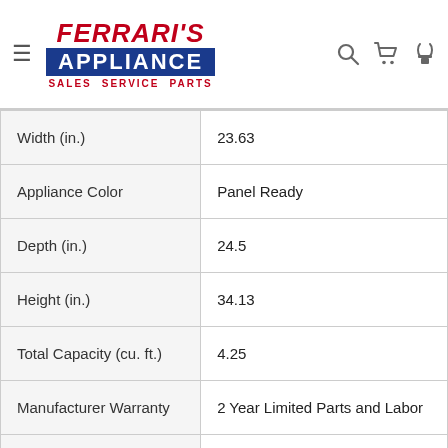[Figure (logo): Ferrari's Appliance logo with red italic text 'FERRARI'S', blue box with white 'APPLIANCE', and red text 'SALES SERVICE PARTS']
| Width (in.) | 23.63 |
| Appliance Color | Panel Ready |
| Depth (in.) | 24.5 |
| Height (in.) | 34.13 |
| Total Capacity (cu. ft.) | 4.25 |
| Manufacturer Warranty | 2 Year Limited Parts and Labor |